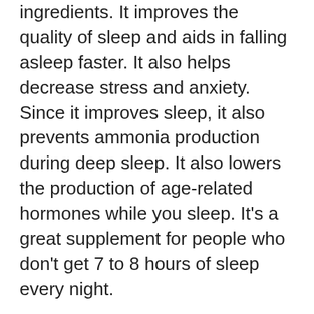ingredients. It improves the quality of sleep and aids in falling asleep faster. It also helps decrease stress and anxiety. Since it improves sleep, it also prevents ammonia production during deep sleep. It also lowers the production of age-related hormones while you sleep. It's a great supplement for people who don't get 7 to 8 hours of sleep every night.
Resurge is a wonderful supplement for those who do not want to adhere to any diet or follow a strict regimen. It works by enhancing your sleep-related psychology and helping you to fall asleep. It has ingredients formulated to increase your metabolism. It's a safe and effective method of losing weight. If you're exhausted from